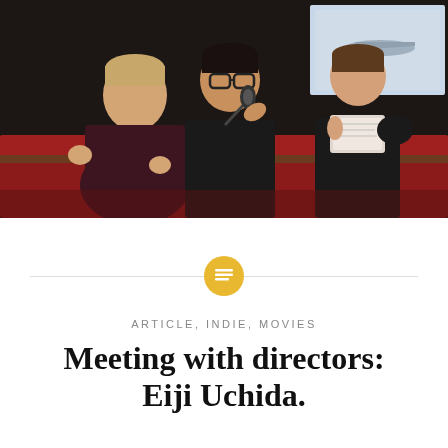[Figure (photo): Three people seated at a panel or event stage. A young man with crossed arms on the left, a person in the center speaking into a microphone wearing glasses and a black shirt, and a woman on the right holding a tablet or notebook. Red upholstered seating visible, dark background. A projected screen is partially visible in the upper right.]
ARTICLE, INDIE, MOVIES
Meeting with directors: Eiji Uchida.